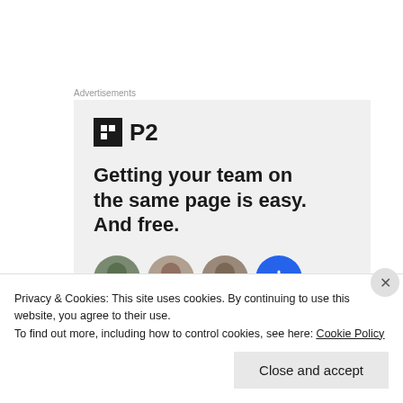Advertisements
[Figure (other): P2 advertisement banner with logo, headline 'Getting your team on the same page is easy. And free.' and avatar images]
Privacy & Cookies: This site uses cookies. By continuing to use this website, you agree to their use.
To find out more, including how to control cookies, see here: Cookie Policy
Close and accept